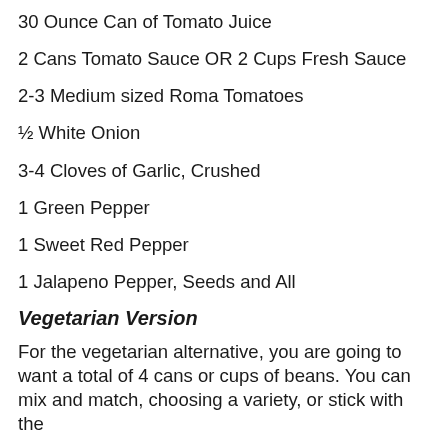30 Ounce Can of Tomato Juice
2 Cans Tomato Sauce OR 2 Cups Fresh Sauce
2-3 Medium sized Roma Tomatoes
½ White Onion
3-4 Cloves of Garlic, Crushed
1 Green Pepper
1 Sweet Red Pepper
1 Jalapeno Pepper, Seeds and All
Vegetarian Version
For the vegetarian alternative, you are going to want a total of 4 cans or cups of beans. You can mix and match, choosing a variety, or stick with the